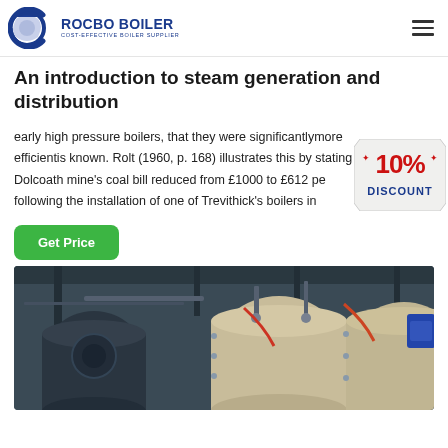[Figure (logo): Rocbo Boiler logo with circular blue graphic and text 'ROCBO BOILER - COST-EFFECTIVE BOILER SUPPLIER']
An introduction to steam generation and distribution
early high pressure boilers, that they were significantlymore efficientis known. Rolt (1960, p. 168) illustrates this by stating that Dolcoath mine's coal bill reduced from £1000 to £612 pe... following the installation of one of Trevithick's boilers in...
[Figure (infographic): 10% DISCOUNT badge in red and blue on a tag shape]
[Figure (photo): Industrial boiler equipment in a facility showing large cylindrical boiler vessels with pipes and fittings]